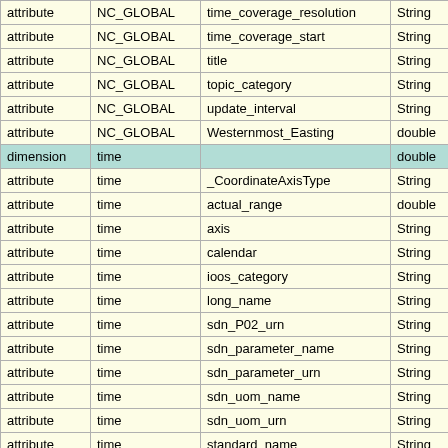|  |  |  |  |  |
| --- | --- | --- | --- | --- |
| attribute | NC_GLOBAL | time_coverage_resolution | String | P |
| attribute | NC_GLOBAL | time_coverage_start | String | 2 |
| attribute | NC_GLOBAL | title | String | H A |
| attribute | NC_GLOBAL | topic_category | String | oc |
| attribute | NC_GLOBAL | update_interval | String | vo |
| attribute | NC_GLOBAL | Westernmost_Easting | double | -1 |
| dimension | time |  | double | nT |
| attribute | time | _CoordinateAxisType | String | Ti |
| attribute | time | actual_range | double | 1 |
| attribute | time | axis | String | T |
| attribute | time | calendar | String | st |
| attribute | time | ioos_category | String | Ti |
| attribute | time | long_name | String | Ti |
| attribute | time | sdn_P02_urn | String | S |
| attribute | time | sdn_parameter_name | String | E |
| attribute | time | sdn_parameter_urn | String | S |
| attribute | time | sdn_uom_name | String | D |
| attribute | time | sdn_uom_urn | String | S |
| attribute | time | standard_name | String | ti |